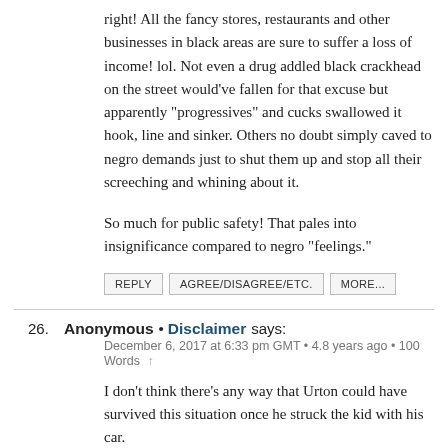right! All the fancy stores, restaurants and other businesses in black areas are sure to suffer a loss of income! lol. Not even a drug addled black crackhead on the street would've fallen for that excuse but apparently "progressives" and cucks swallowed it hook, line and sinker. Others no doubt simply caved to negro demands just to shut them up and stop all their screeching and whining about it.
So much for public safety! That pales into insignificance compared to negro "feelings."
REPLY   AGREE/DISAGREE/ETC.   MORE...
26. Anonymous • Disclaimer says:
December 6, 2017 at 6:33 pm GMT • 4.8 years ago • 100 Words ↑
I don't think there's any way that Urton could have survived this situation once he struck the kid with his car.
Even if he wasn't a GoodWhite and did what many of you are advocating and drove to a police station to report the collision,